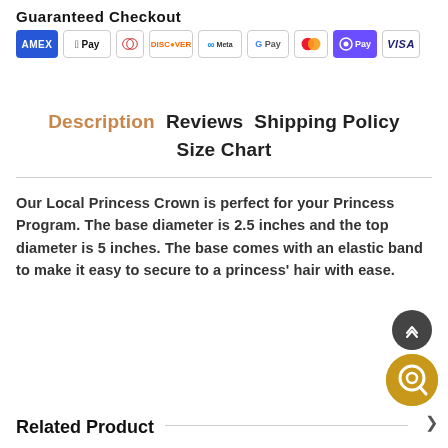Guaranteed Checkout
[Figure (infographic): Payment method icons: Amex, Apple Pay, Diners Club, Discover, Meta Pay, Google Pay, Mastercard, OPay, Visa]
Description  Reviews  Shipping Policy  Size Chart
Our Local Princess Crown is perfect for your Princess Program. The base diameter is 2.5 inches and the top diameter is 5 inches. The base comes with an elastic band to make it easy to secure to a princess' hair with ease.
Related Product